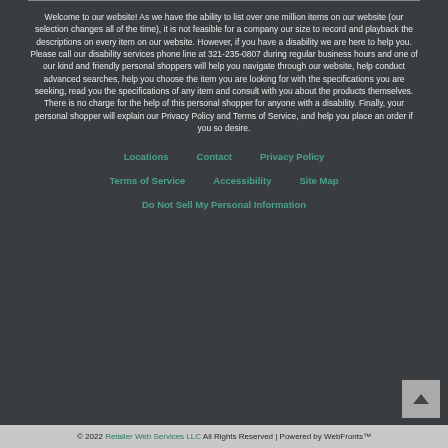Welcome to our website! As we have the ability to list over one million items on our website (our selection changes all of the time), it is not feasible for a company our size to record and playback the descriptions on every item on our website. However, if you have a disability we are here to help you. Please call our disability services phone line at 321-235-0807 during regular business hours and one of our kind and friendly personal shoppers will help you navigate through our website, help conduct advanced searches, help you choose the item you are looking for with the specifications you are seeking, read you the specifications of any item and consult with you about the products themselves. There is no charge for the help of this personal shopper for anyone with a disability. Finally, your personal shopper will explain our Privacy Policy and Terms of Service, and help you place an order if you so desire.
Locations
Contact
Privacy Policy
Terms of Service
Accessibility
Site Map
Do Not Sell My Personal Information
© 2022 Retailer Web Services LLC All Rights Reserved | Powered by WebFronts™